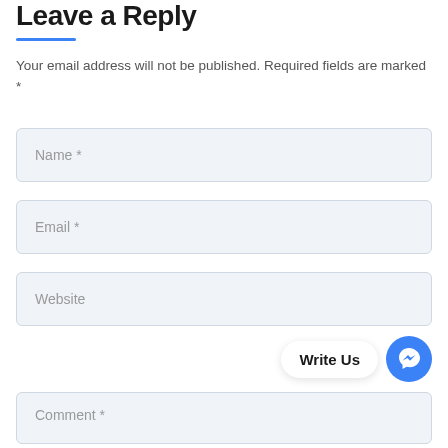Leave a Reply
Your email address will not be published. Required fields are marked *
[Figure (screenshot): Name * input field (light blue-grey background, rounded border)]
[Figure (screenshot): Email * input field (light blue-grey background, rounded border)]
[Figure (screenshot): Website input field (light blue-grey background, rounded border)]
[Figure (screenshot): Write Us Facebook Messenger chat widget button at bottom right]
[Figure (screenshot): Comment * input field (light blue-grey background, rounded border) partially visible at bottom]